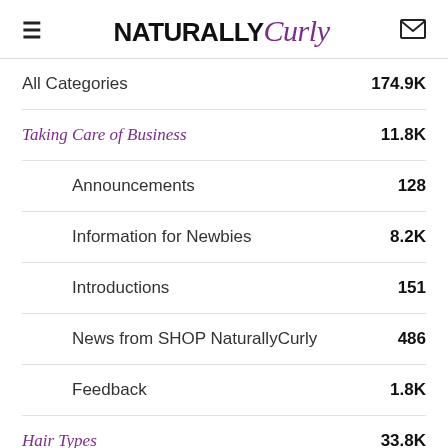NATURALLY Curly
All Categories — 174.9K
Taking Care of Business — 11.8K
Announcements — 128
Information for Newbies — 8.2K
Introductions — 151
News from SHOP NaturallyCurly — 486
Feedback — 1.8K
Hair Types — 33.8K